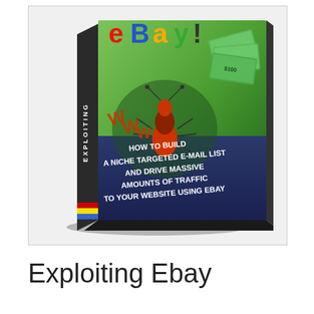[Figure (illustration): 3D book cover for 'Exploiting eBay' showing a book with eBay logo on top in red/blue/yellow/green letters, green background with an ant/bug graphic and WWW text, money bills stacked on the right side, spine of book showing 'EXPLOITING' text vertically, and subtitle text reading 'HOW TO BUILD A NICHE TARGETED E-MAIL LIST AND DRIVE MASSIVE AMOUNTS OF TRAFFIC TO YOUR WEBSITE USING EBAY']
Exploiting Ebay